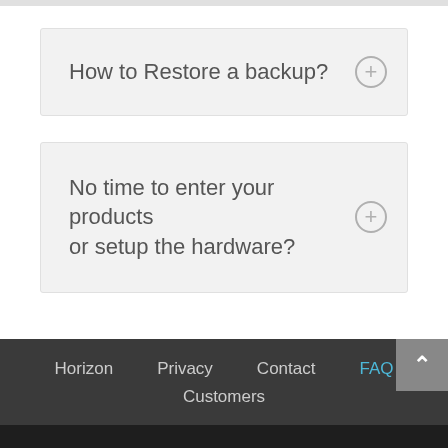How to Restore a backup?
No time to enter your products or setup the hardware?
Horizon  Privacy  Contact  FAQ  Customers
© HorizonPOS 2018